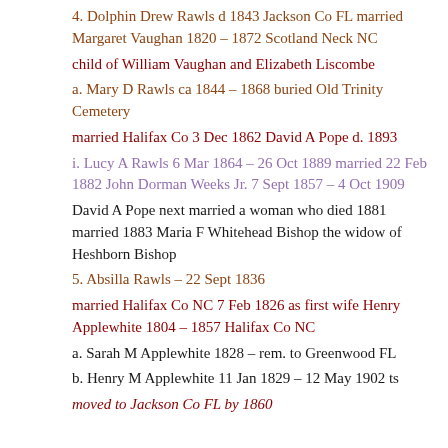4. Dolphin Drew Rawls d 1843 Jackson Co FL married Margaret Vaughan 1820 – 1872 Scotland Neck NC
child of William Vaughan and Elizabeth Liscombe
a. Mary D Rawls ca 1844 – 1868 buried Old Trinity Cemetery
married Halifax Co 3 Dec 1862 David A Pope d. 1893
i. Lucy A Rawls 6 Mar 1864 – 26 Oct 1889 married 22 Feb 1882 John Dorman Weeks Jr. 7 Sept 1857 – 4 Oct 1909
David A Pope next married a woman who died 1881 married 1883 Maria F Whitehead Bishop the widow of Heshborn Bishop
5. Absilla Rawls – 22 Sept 1836
married Halifax Co NC 7 Feb 1826 as first wife Henry Applewhite 1804 – 1857 Halifax Co NC
a. Sarah M Applewhite 1828 – rem. to Greenwood FL
b. Henry M Applewhite 11 Jan 1829 – 12 May 1902 ts
moved to Jackson Co FL by 1860